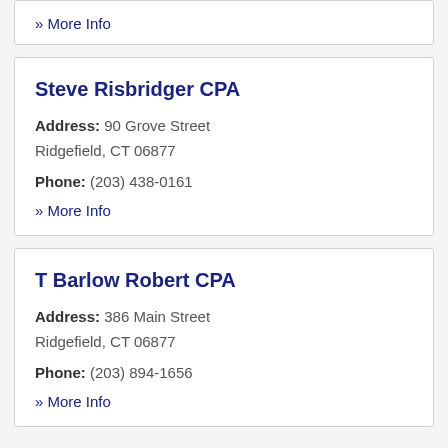» More Info
Steve Risbridger CPA
Address: 90 Grove Street Ridgefield, CT 06877
Phone: (203) 438-0161
» More Info
T Barlow Robert CPA
Address: 386 Main Street Ridgefield, CT 06877
Phone: (203) 894-1656
» More Info